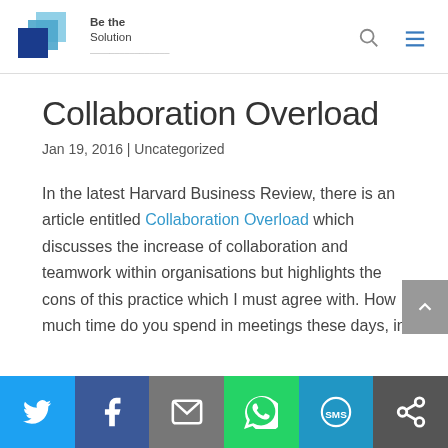Be the Solution
Collaboration Overload
Jan 19, 2016 | Uncategorized
In the latest Harvard Business Review, there is an article entitled Collaboration Overload which discusses the increase of collaboration and teamwork within organisations but highlights the cons of this practice which I must agree with. How much time do you spend in meetings these days, in